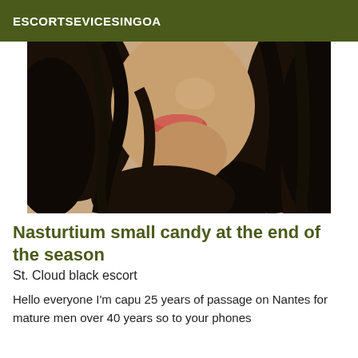ESCORTSEVICESINGOA
[Figure (photo): Close-up photo of a woman with long dark hair, face partially cropped, wearing a dark top, against a neutral background.]
Nasturtium small candy at the end of the season
St. Cloud black escort
Hello everyone I'm capu 25 years of passage on Nantes for mature men over 40 years so to your phones